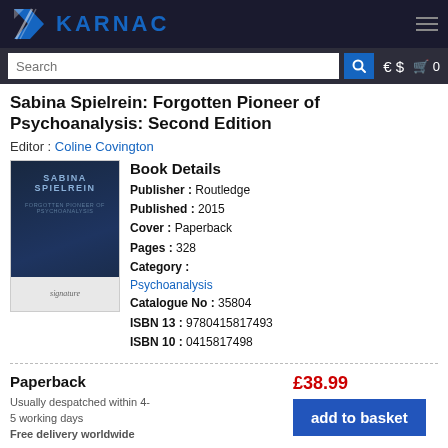[Figure (logo): Karnac publisher logo — blue K icon and KARNAC text in dark navy header bar]
Sabina Spielrein: Forgotten Pioneer of Psychoanalysis: Second Edition
Editor : Coline Covington
[Figure (photo): Book cover image — dark navy cover with text SABINA SPIELREIN, FORGOTTEN PIONEER OF PSYCHOANALYSIS]
| Field | Value |
| --- | --- |
| Publisher | Routledge |
| Published | 2015 |
| Cover | Paperback |
| Pages | 328 |
| Category | Psychoanalysis |
| Catalogue No | 35804 |
| ISBN 13 | 9780415817493 |
| ISBN 10 | 0415817498 |
Paperback
£38.99
Usually despatched within 4-5 working days
Free delivery worldwide
add to basket